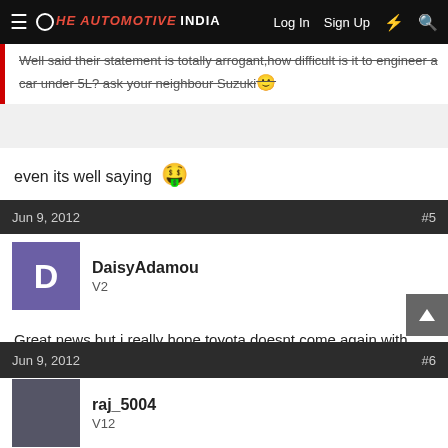The Automotive India — Log In  Sign Up
Well said their statement is totally arrogant,how difficult is it to engineer a car under 5L? ask your neighbour Suzuki
even its well saying
Jun 9, 2012   #5
DaisyAdamou
V2
Great news,but i really hope toyota doesnt come again with etios/liva like interiors.I vetoed my dad's decision to buy the car just for the interior.feels downright cheap.But toyota being haloed,they will get away with it.
Jun 9, 2012   #6
raj_5004
V12